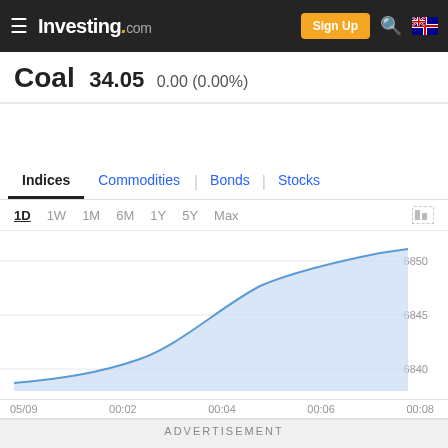Investing.com — Sign Up
Coal 34.05 0.00 (0.00%)
Indices | Commodities | Bonds | Stocks
1D  1W  1M  6M  1Y  5Y  Max
[Figure (area-chart): Coal intraday price chart]
ADVERTISEMENT